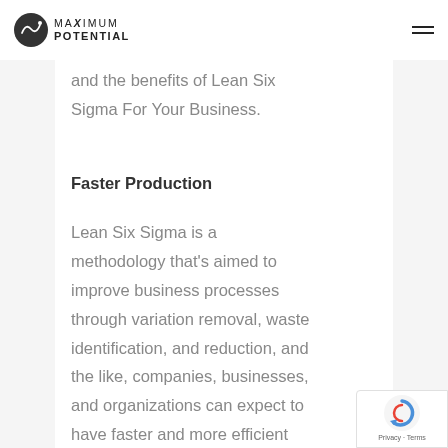MAXIMUM POTENTIAL
and the benefits of Lean Six Sigma For Your Business.
Faster Production
Lean Six Sigma is a methodology that's aimed to improve business processes through variation removal, waste identification, and reduction, and the like, companies, businesses, and organizations can expect to have faster and more efficient